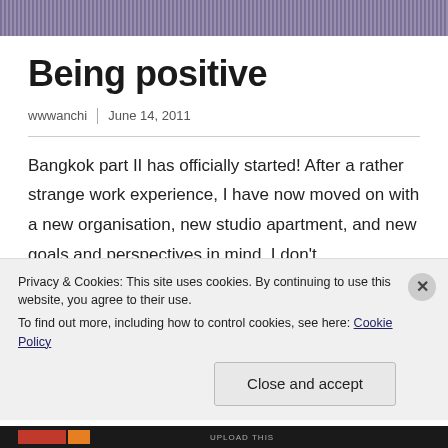Being positive
wwwanchi | June 14, 2011
Bangkok part II has officially started! After a rather strange work experience, I have now moved on with a new organisation, new studio apartment, and new goals and perspectives in mind. I don't …
READ MORE
Privacy & Cookies: This site uses cookies. By continuing to use this website, you agree to their use.
To find out more, including how to control cookies, see here: Cookie Policy
Close and accept